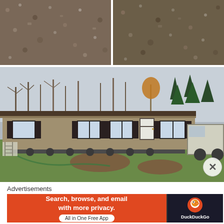[Figure (photo): Close-up photo of gravel and sandy soil surface, left half]
[Figure (photo): Close-up photo of gravel and sandy soil surface, right half]
[Figure (photo): Photo of a long single-wide manufactured/mobile home being transported on a truck chassis, parked on a grassy lot with bare trees in the background]
Advertisements
[Figure (screenshot): DuckDuckGo advertisement banner: 'Search, browse, and email with more privacy. All in One Free App' with DuckDuckGo logo on dark panel]